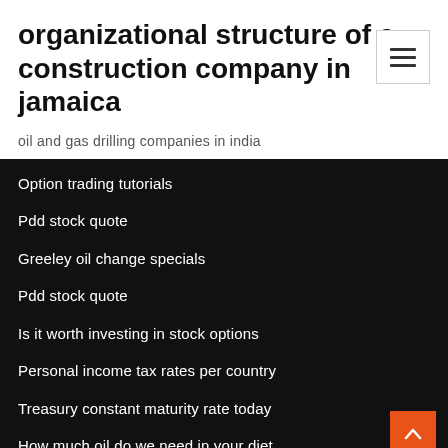organizational structure of a construction company in jamaica
oil and gas drilling companies in india
Option trading tutorials
Pdd stock quote
Greeley oil change specials
Pdd stock quote
Is it worth investing in stock options
Personal income tax rates per country
Treasury constant maturity rate today
How much oil do we need in your diet